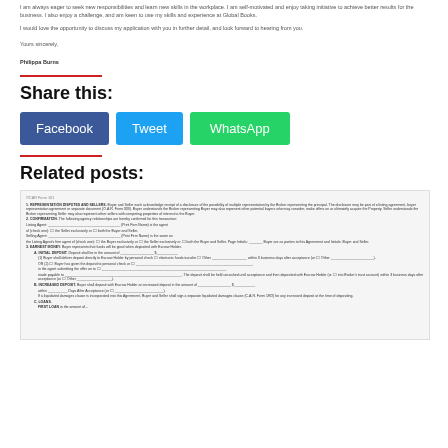I am always eager to seek new responsibilities and learn new skills in the workplace. I am self-motivated and enjoy taking initiative to achieve better results for the business. I also enjoy a challenge, and am keen to use my skills and experience at Global Books.
I would love the opportunity to discuss my application with you in further detail, and look forward to hearing from you.
Yours sincerely,
Philippa Burns
Share this:
Facebook  Tweet  WhatsApp
Related posts:
[Figure (screenshot): Blurred screenshot of a legal/real estate document with numbered sections about representation, confirmation, earnest money, initial deposit, and increased deposit.]